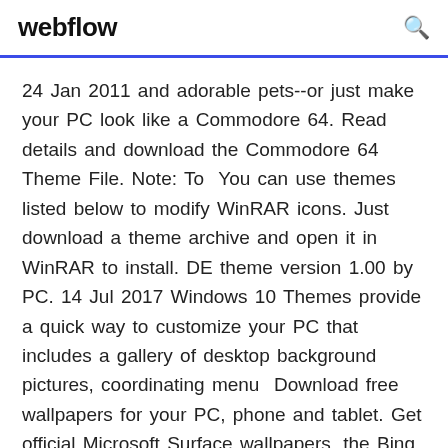webflow
24 Jan 2011 and adorable pets--or just make your PC look like a Commodore 64. Read details and download the Commodore 64 Theme File. Note: To  You can use themes listed below to modify WinRAR icons. Just download a theme archive and open it in WinRAR to install. DE theme version 1.00 by PC. 14 Jul 2017 Windows 10 Themes provide a quick way to customize your PC that includes a gallery of desktop background pictures, coordinating menu  Download free wallpapers for your PC, phone and tablet. Get official Microsoft Surface wallpapers, the Bing daily image and unique creations for your devices. DeviantArt is the world's largest online social community for